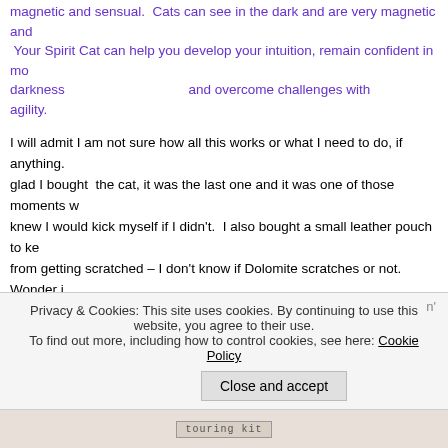magnetic and sensual.  Cats can see in the dark and are very magnetic and sensual.  Your Spirit Cat can help you develop your intuition, remain confident in moments of darkness and overcome challenges with agility.
I will admit I am not sure how all this works or what I need to do, if anything.  I am glad I bought  the cat, it was the last one and it was one of those moments when I knew I would kick myself if I didn't.  I also bought a small leather pouch to keep it from getting scratched – I don't know if Dolomite scratches or not.  Wonder if I need to give it a name and decide what sex.
After that I went over to Pacific Fabrics to drool over fabric – I found some I liked but don't have a project for it.  I just want it.  I didn't buy any but it was hard to walk away without any of it.  I also checked out some patterns, but didn't buy any.  I haven't done any quilting in a long time.  I am beginning to miss it.  By then it was time to go meet the group for lunch – I was also hungry so I was ready.
They chose a pizza place called Sparta's, not my favorite but I was glad to see everyone.  I had a sudden yen for lasagna, it's been a long time since the last one.  I managed to get the one on the senior menu, the smallest and by George I finished it.
Privacy & Cookies: This site uses cookies. By continuing to use this website, you agree to their use.
To find out more, including how to control cookies, see here: Cookie Policy
Close and accept
[Figure (other): Bottom image bar with text 'touring kit']